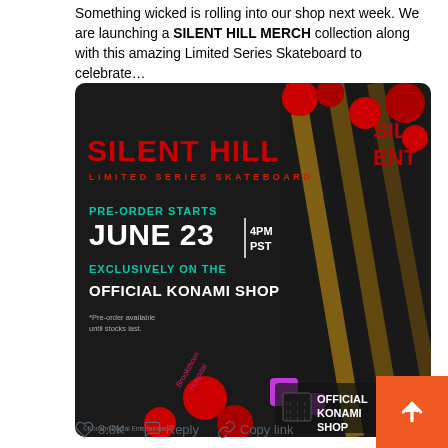Something wicked is rolling into our shop next week. We are launching a SILENT HILL MERCH collection along with this amazing Limited Series Skateboard to celebrate…
[Figure (photo): Silent Hill Limited Series Skateboard promotional image. Dark background with skateboards. Text reads: SILENT HILL LIMITED SERIES SKATEBOARD. PRE-ORDER STARTS JUNE 23 | 4PM PST. EXCLUSIVELY ON THE OFFICIAL KONAMI SHOP. *Pre-order available until stocks last. ©Konami Digital Entertainment. Official Konami Shop logo.]
10:10 PM · Jun 20, 2021
3.8K    Reply    Copy link